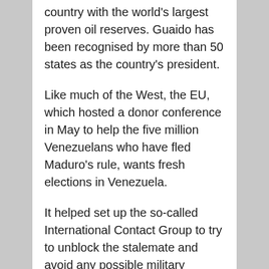country with the world's largest proven oil reserves. Guaido has been recognised by more than 50 states as the country's president.
Like much of the West, the EU, which hosted a donor conference in May to help the five million Venezuelans who have fled Maduro's rule, wants fresh elections in Venezuela.
It helped set up the so-called International Contact Group to try to unblock the stalemate and avoid any possible military intervention in Venezuela.
The group's members, consisting of about a